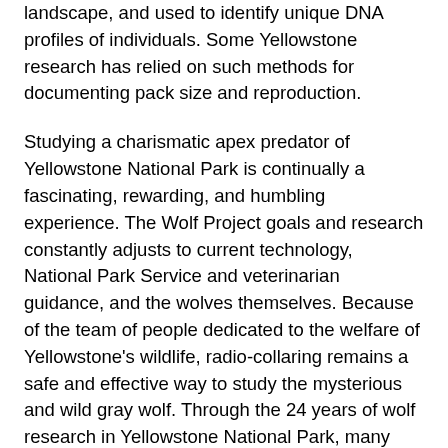landscape, and used to identify unique DNA profiles of individuals. Some Yellowstone research has relied on such methods for documenting pack size and reproduction.
Studying a charismatic apex predator of Yellowstone National Park is continually a fascinating, rewarding, and humbling experience. The Wolf Project goals and research constantly adjusts to current technology, National Park Service and veterinarian guidance, and the wolves themselves. Because of the team of people dedicated to the welfare of Yellowstone's wildlife, radio-collaring remains a safe and effective way to study the mysterious and wild gray wolf. Through the 24 years of wolf research in Yellowstone National Park, many questions have been answered, and more have emerged, about wolf ecology, their societies, =, and vulnerabilities to humans and human-altered changes to ecosystems. The curiosity, and the science, continues